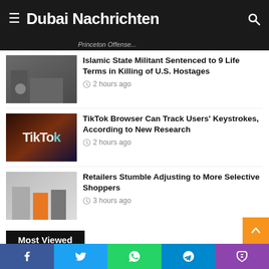Dubai Nachrichten
Islamic State Militant Sentenced to 9 Life Terms in Killing of U.S. Hostages — 2 hours ago
TikTok Browser Can Track Users' Keystrokes, According to New Research — 2 hours ago
Retailers Stumble Adjusting to More Selective Shoppers — 3 hours ago
Most Viewed
4 November 2021